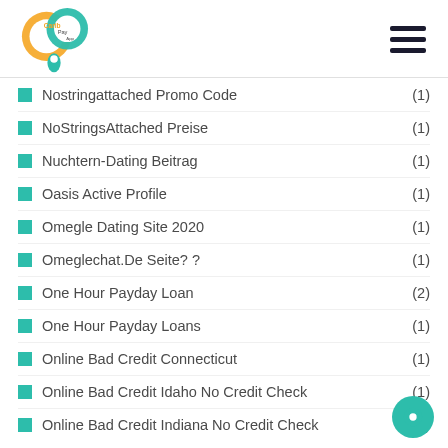Carib Pay App
Nostringattached Promo Code (1)
NoStringsAttached Preise (1)
Nuchtern-Dating Beitrag (1)
Oasis Active Profile (1)
Omegle Dating Site 2020 (1)
Omeglechat.De Seite? ? (1)
One Hour Payday Loan (2)
One Hour Payday Loans (1)
Online Bad Credit Connecticut (1)
Online Bad Credit Idaho No Credit Check (1)
Online Bad Credit Indiana No Credit Check (1)